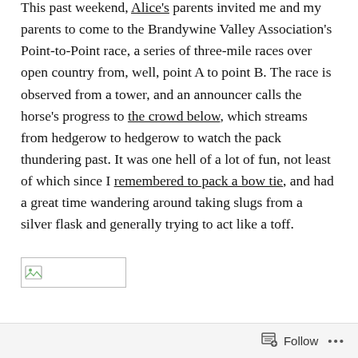This past weekend, Alice's parents invited me and my parents to come to the Brandywine Valley Association's Point-to-Point race, a series of three-mile races over open country from, well, point A to point B. The race is observed from a tower, and an announcer calls the horse's progress to the crowd below, which streams from hedgerow to hedgerow to watch the pack thundering past. It was one hell of a lot of fun, not least of which since I remembered to pack a bow tie, and had a great time wandering around taking slugs from a silver flask and generally trying to act like a toff.
[Figure (photo): Broken image placeholder — a small landscape-photo icon with a rectangle outline, indicating a missing or unloaded image.]
Follow ...